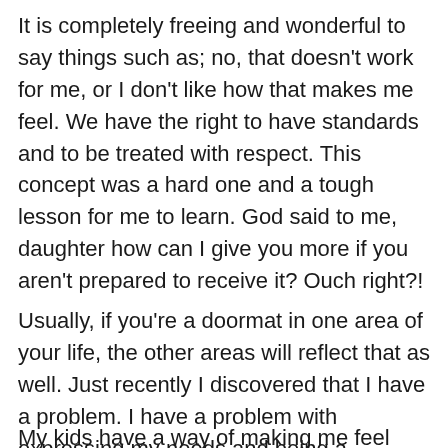It is completely freeing and wonderful to say things such as; no, that doesn't work for me, or I don't like how that makes me feel. We have the right to have standards and to be treated with respect. This concept was a hard one and a tough lesson for me to learn. God said to me, daughter how can I give you more if you aren't prepared to receive it? Ouch right?!
Usually, if you're a doormat in one area of your life, the other areas will reflect that as well. Just recently I discovered that I have a problem. I have a problem with expressing my needs and being a doormat. Can you relate?
My kids have a way of making me feel guilty